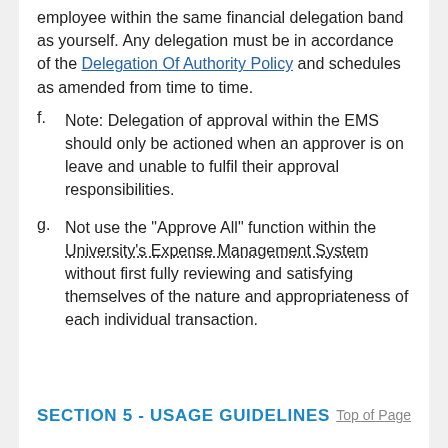employee within the same financial delegation band as yourself. Any delegation must be in accordance of the Delegation Of Authority Policy and schedules as amended from time to time.
f. Note: Delegation of approval within the EMS should only be actioned when an approver is on leave and unable to fulfil their approval responsibilities.
g. Not use the "Approve All" function within the University's Expense Management System without first fully reviewing and satisfying themselves of the nature and appropriateness of each individual transaction.
SECTION 5 - USAGE GUIDELINES
Top of Page